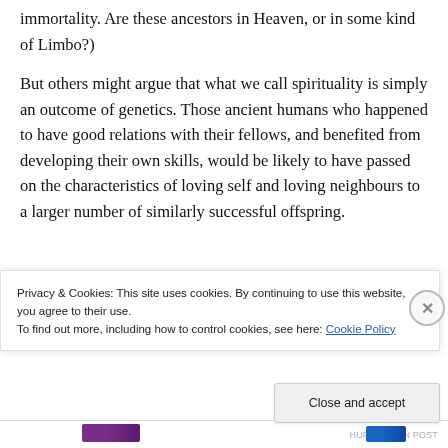immortality. Are these ancestors in Heaven, or in some kind of Limbo?)
But others might argue that what we call spirituality is simply an outcome of genetics. Those ancient humans who happened to have good relations with their fellows, and benefited from developing their own skills, would be likely to have passed on the characteristics of loving self and loving neighbours to a larger number of similarly successful offspring.
[Figure (photo): Partial photo showing a red device or object, cropped at the top]
Privacy & Cookies: This site uses cookies. By continuing to use this website, you agree to their use.
To find out more, including how to control cookies, see here: Cookie Policy
Close and accept